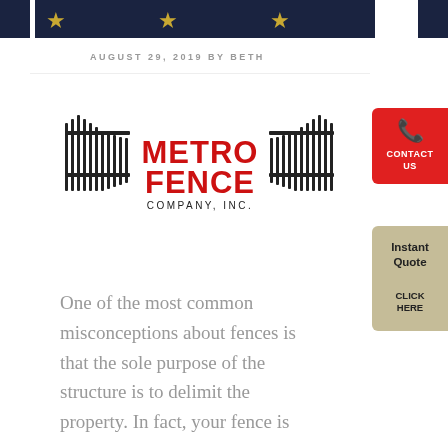[Figure (photo): Top banner with dark blue background and gold stars, partially visible at top of page]
AUGUST 29, 2019 BY BETH
[Figure (logo): Metro Fence Company, Inc. logo with red text and stylized fence graphic in black]
[Figure (other): Red contact us button with phone icon on right sidebar]
[Figure (other): Tan/khaki Instant Quote Click Here button on right sidebar]
One of the most common misconceptions about fences is that the sole purpose of the structure is to delimit the property. In fact, your fence is